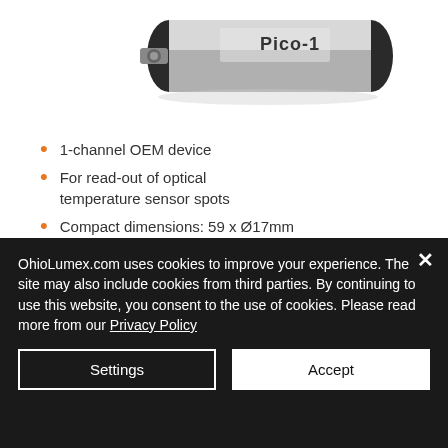[Figure (photo): Photo of a cylindrical OEM device labeled 'Pico-1', silver/grey with black end caps and a connector on one end.]
1-channel OEM device
For read-out of optical temperature sensor spots
Compact dimensions: 59 x Ø17mm
UART interface, low power consumption
Download Specs
Compatible Accs.
OhioLumex.com uses cookies to improve your experience. The site may also include cookies from third parties. By continuing to use this website, you consent to the use of cookies. Please read more from our Privacy Policy
Settings
Accept